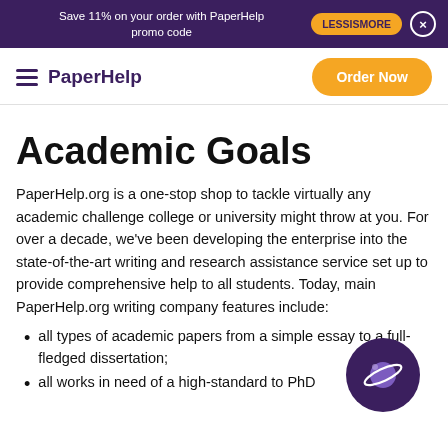Save 11% on your order with PaperHelp promo code   LESSISMORE   ×
PaperHelp   Order Now
Academic Goals
PaperHelp.org is a one-stop shop to tackle virtually any academic challenge college or university might throw at you. For over a decade, we've been developing the enterprise into the state-of-the-art writing and research assistance service set up to provide comprehensive help to all students. Today, main PaperHelp.org writing company features include:
all types of academic papers from a simple essay to a full-fledged dissertation;
all works in need of a high-standard to PhD